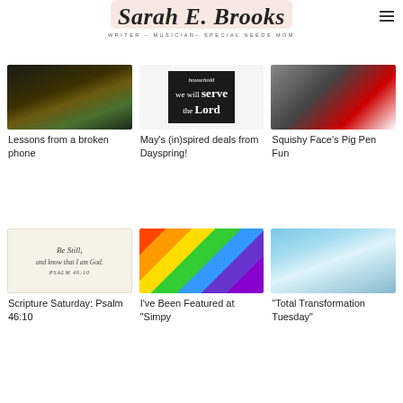[Figure (logo): Sarah E. Brooks blog logo with cursive text on pink background, tagline: WRITER - MUSICIAN- SPECIAL NEEDS MOM]
[Figure (photo): Dark gradient image for broken phone article]
Lessons from a broken phone
[Figure (photo): Black sign reading 'household we will serve the Lord']
May’s (in)spired deals from Dayspring!
[Figure (photo): Closeup of car corner, dark background with red stripe]
Squishy Face’s Pig Pen Fun
[Figure (photo): Be Still and know that I am God. Psalm 46:10 framed image]
Scripture Saturday: Psalm 46:10
[Figure (photo): Rainbow colored curved stripes]
I’ve Been Featured at “Simpy
[Figure (photo): Soft blue and white abstract wave background]
“Total Transformation Tuesday”